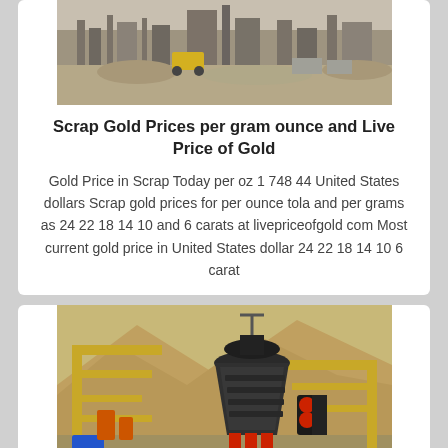[Figure (photo): Mining yard with heavy equipment and structures, outdoor dirt site]
Scrap Gold Prices per gram ounce and Live Price of Gold
Gold Price in Scrap Today per oz 1 748 44 United States dollars Scrap gold prices for per ounce tola and per grams as 24 22 18 14 10 and 6 carats at livepriceofgold com Most current gold price in United States dollar 24 22 18 14 10 6 carat
[Figure (photo): Mining crushing equipment (cone crusher) with yellow steel frame structure and mountains in background]